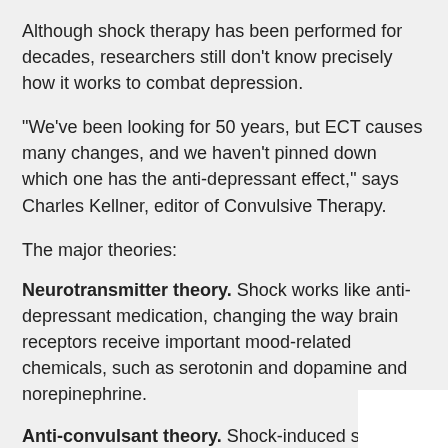Although shock therapy has been performed for decades, researchers still don't know precisely how it works to combat depression.
"We've been looking for 50 years, but ECT causes many changes, and we haven't pinned down which one has the anti-depressant effect,'' says Charles Kellner, editor of Convulsive Therapy.
The major theories:
Neurotransmitter theory. Shock works like anti-depressant medication, changing the way brain receptors receive important mood-related chemicals, such as serotonin and dopamine and norepinephrine.
Anti-convulsant theory. Shock-induced seizures teach the brain to resist seizures. This effort to inhibit seizures dampens abnormally active brain circuits, stabilizing mood.